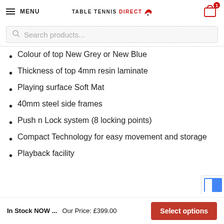MENU | TABLE TENNIS DIRECT | Cart: 1
Search products...
Colour of top New Grey or New Blue
Thickness of top 4mm resin laminate
Playing surface Soft Mat
40mm steel side frames
Push n Lock system (8 locking points)
Compact Technology for easy movement and storage
Playback facility
In Stock NOW ... Our Price: £399.00 Select options